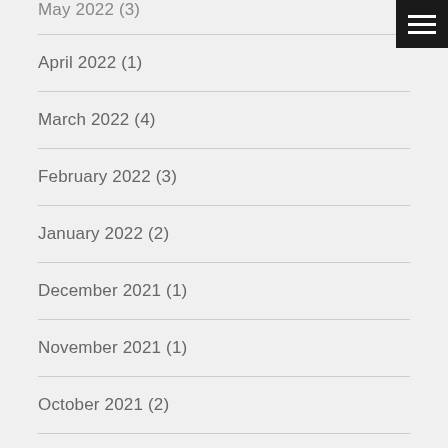April 2022 (1)
March 2022 (4)
February 2022 (3)
January 2022 (2)
December 2021 (1)
November 2021 (1)
October 2021 (2)
September 2021 (3)
August 2021 (3)